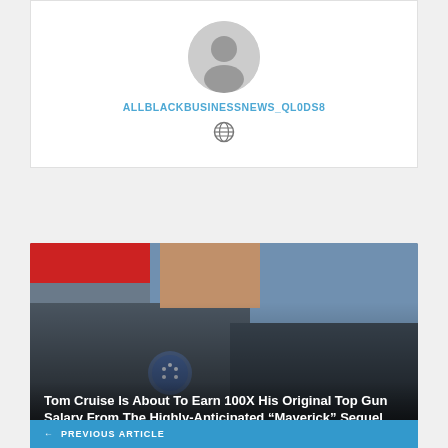[Figure (photo): Circular avatar placeholder with grey silhouette icon on white background]
ALLBLACKBUSINESSNEWS_QL0DS8
[Figure (illustration): Globe/world icon in dark grey]
[Figure (photo): Tom Cruise in flight jacket with American flag background from Top Gun movie]
Tom Cruise Is About To Earn 100X His Original Top Gun Salary From The Highly-Anticipated “Maverick” Sequel
← PREVIOUS ARTICLE